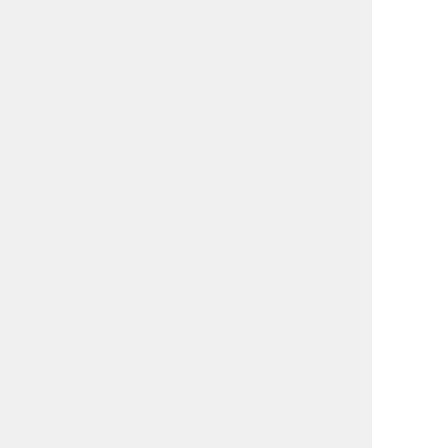| Game | Genre |
| --- | --- |
| Da Best Gaem | Arcade |
| Cult Classic | Puzzle |
| Cooking Momo - The Wholesome Momo Challenge | WTF |
| Cloud Wars | Strategy |
| Chipperblocks | Arcade |
| Cardinal Quest | RPG |
| Blue Yonder | Racing |
| Binladen Bash | Arcade |
| Bad Birds | Puzzle |
| Atomik Kaos 3 - Crystals | Puzzle |
| Atomik Kaos 2 Orbits | Puzzle |
| Atomik Kaos | Puzzle |
| Winter Magic | Dress-Up |
| UnderLOVETale 4 | Dating Sim |